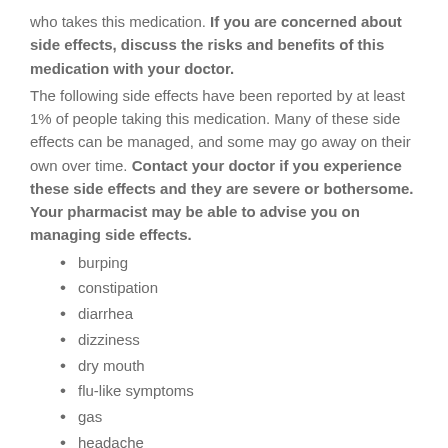who takes this medication. If you are concerned about side effects, discuss the risks and benefits of this medication with your doctor.
The following side effects have been reported by at least 1% of people taking this medication. Many of these side effects can be managed, and some may go away on their own over time. Contact your doctor if you experience these side effects and they are severe or bothersome. Your pharmacist may be able to advise you on managing side effects.
burping
constipation
diarrhea
dizziness
dry mouth
flu-like symptoms
gas
headache
muscle pain